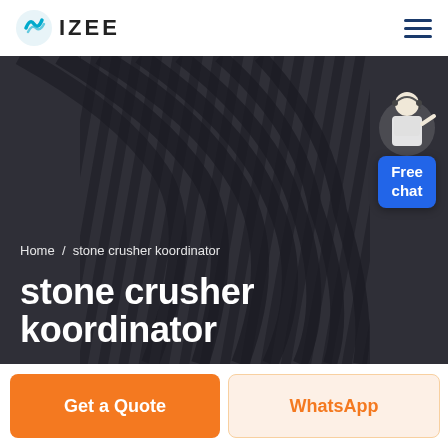IZEE
[Figure (screenshot): Hero banner with dark overlay over a person wearing a striped shirt. Breadcrumb reads 'Home / stone crusher koordinator'. Large bold white text reads 'stone crusher koordinator'. A 'Free chat' widget with a customer service agent figure appears in the top right of the hero.]
Home / stone crusher koordinator
stone crusher koordinator
Get a Quote
WhatsApp